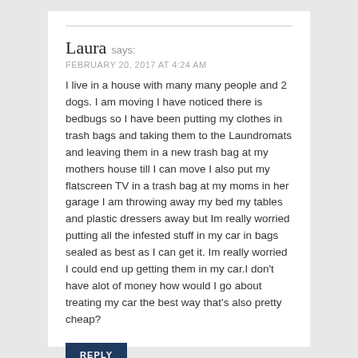Laura says:
FEBRUARY 20, 2017 AT 4:24 AM
I live in a house with many many people and 2 dogs. I am moving I have noticed there is bedbugs so I have been putting my clothes in trash bags and taking them to the Laundromats and leaving them in a new trash bag at my mothers house till I can move I also put my flatscreen TV in a trash bag at my moms in her garage I am throwing away my bed my tables and plastic dressers away but Im really worried putting all the infested stuff in my car in bags sealed as best as I can get it. Im really worried I could end up getting them in my car.I don't have alot of money how would I go about treating my car the best way that's also pretty cheap?
REPLY